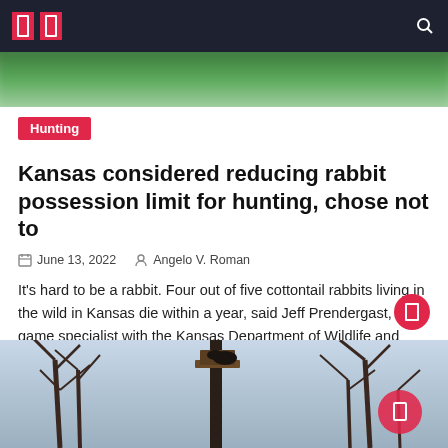Navigation bar with logo icons and search
[Figure (photo): Blurred green nature/foliage image strip at top of article]
Hunting
Kansas considered reducing rabbit possession limit for hunting, chose not to
June 13, 2022   Angelo V. Roman
It's hard to be a rabbit. Four out of five cottontail rabbits living in the wild in Kansas die within a year, said Jeff Prendergast, small game specialist with the Kansas Department of Wildlife and Parks. Yet this species survives because it multiplies so quickly, Prendergast told the Kansas Wildlife and Parks Commission as it [...]
[Figure (photo): Outdoor photo showing bare tree branches and what appears to be a bird or animal on a structure, blue sky background]